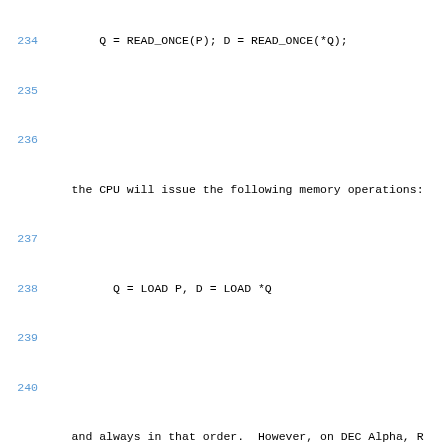234        Q = READ_ONCE(P); D = READ_ONCE(*Q);
235
236
the CPU will issue the following memory operations:
237
238          Q = LOAD P, D = LOAD *Q
239
240
and always in that order.  However, on DEC Alpha, R
241      emits a memory-
barrier instruction, so that a DEC Alpha CPU will
242
instead issue the following memory operations:
243
244
Q = LOAD P, MEMORY_BARRIER, D = LOAD *Q, MEMORY_
245
246
Whether on DEC Alpha or not, the READ_ONCE() also p
247      mischief.
248
249
(*) Overlapping loads and stores within a particular CP
250
ordered within that CPU.  This means that for: